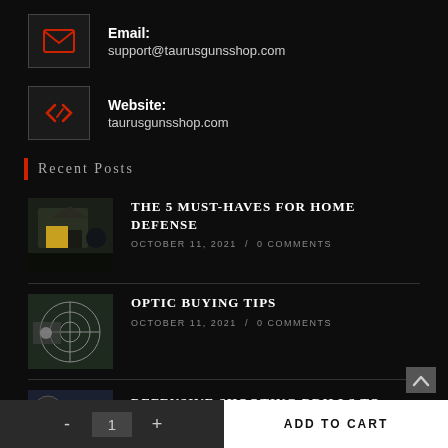Email: support@taurusgunsshop.com
Website: taurusgunsshop.com
Recent Posts
THE 5 MUST-HAVES FOR HOME DEFENSE
OCTOBER 11, 2021 / 0 COMMENTS
OPTIC BUYING TIPS
OCTOBER 11, 2021 / 0 COMMENTS
DEFENSIVE SHOOTING DRILLS TO
- 1 + ADD TO CART